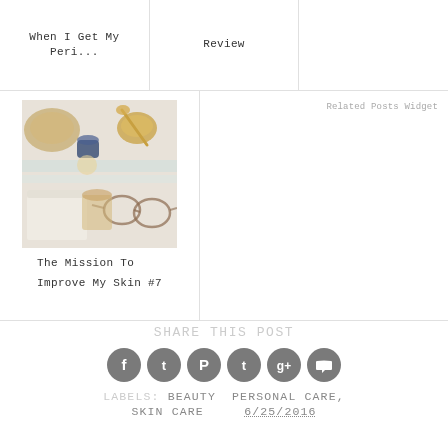When I Get My Peri...
Review
[Figure (photo): Flat lay of skincare and beauty items including bowls, brushes, glasses and notebooks on a light background]
The Mission To Improve My Skin #7
Related Posts Widget
Share this Post
[Figure (infographic): Row of 6 circular grey social media share icons: Facebook, Twitter, Pinterest, Tumblr, Google+, Comment]
Labels: Beauty Personal Care, Skin Care   6/25/2016